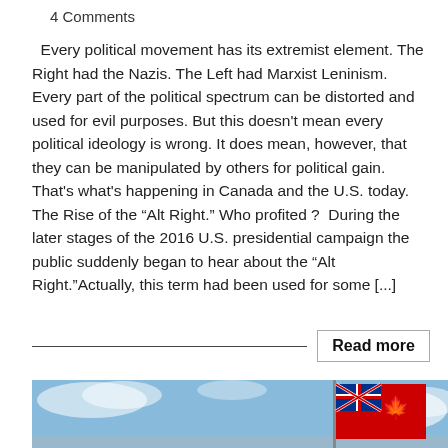4 Comments
Every political movement has its extremist element. The Right had the Nazis. The Left had Marxist Leninism. Every part of the political spectrum can be distorted and used for evil purposes. But this doesn't mean every political ideology is wrong. It does mean, however, that they can be manipulated by others for political gain. That's what's happening in Canada and the U.S. today. The Rise of the “Alt Right.” Who profited ?  During the later stages of the 2016 U.S. presidential campaign the public suddenly began to hear about the “Alt Right.”Actually, this term had been used for some [...]
Read more
[Figure (photo): A red Canadian flag with Union Jack in the corner, waving against a blue sky with clouds]